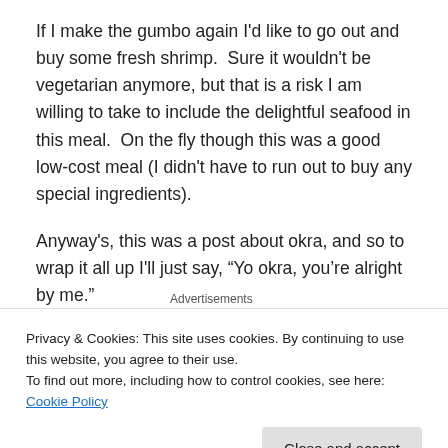If I make the gumbo again I'd like to go out and buy some fresh shrimp.  Sure it wouldn't be vegetarian anymore, but that is a risk I am willing to take to include the delightful seafood in this meal.  On the fly though this was a good low-cost meal (I didn't have to run out to buy any special ingredients).
Anyway's, this was a post about okra, and so to wrap it all up I'll just say, "Yo okra, you're alright by me."
Advertisements
[Figure (other): Dark navy advertisement banner with WordPress logo (W in circle) on right side]
Privacy & Cookies: This site uses cookies. By continuing to use this website, you agree to their use.
To find out more, including how to control cookies, see here: Cookie Policy